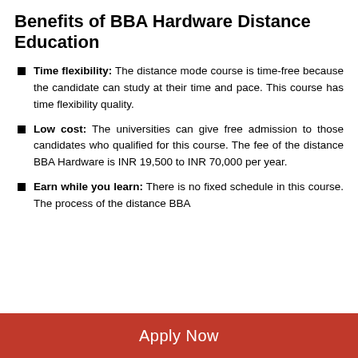Benefits of BBA Hardware Distance Education
Time flexibility: The distance mode course is time-free because the candidate can study at their time and pace. This course has time flexibility quality.
Low cost: The universities can give free admission to those candidates who qualified for this course. The fee of the distance BBA Hardware is INR 19,500 to INR 70,000 per year.
Earn while you learn: There is no fixed schedule in this course. The process of the distance BBA
Apply Now